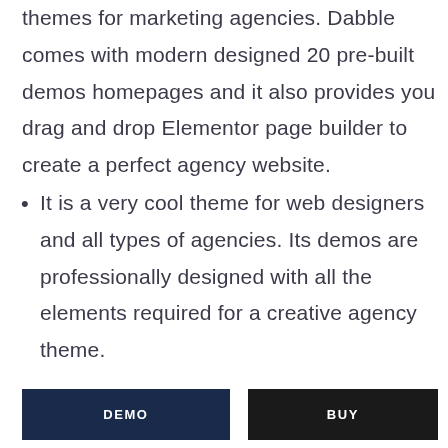themes for marketing agencies. Dabble comes with modern designed 20 pre-built demos homepages and it also provides you drag and drop Elementor page builder to create a perfect agency website.
It is a very cool theme for web designers and all types of agencies. Its demos are professionally designed with all the elements required for a creative agency theme.
DEMO  BUY